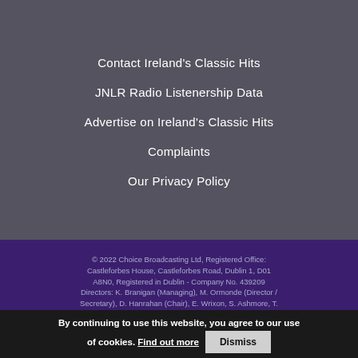Contact Ireland's Classic Hits
JNLR Radio Listenership Data
Advertise on Ireland's Classic Hits
Complaints
Our Privacy Policy
© 2022 Choice Broadcasting Ltd, Registered Office: Castleforbes House, Castleforbes Road, Dublin 1, D01 A8N0, Registered in Dublin - Company No. 439209 Directors: K. Branigan (Managing), M. Ormonde (Director / Secretary), D. Hanrahan (Chair), E. Wrixon, S. Ashmore, T. Authority of Ireland as a sound broadcast service for Dublin, Cork, Limerick, Galway, Clare, Wicklow, Kildare and
By continuing to use this website, you agree to our use of cookies. Find out more Dismiss